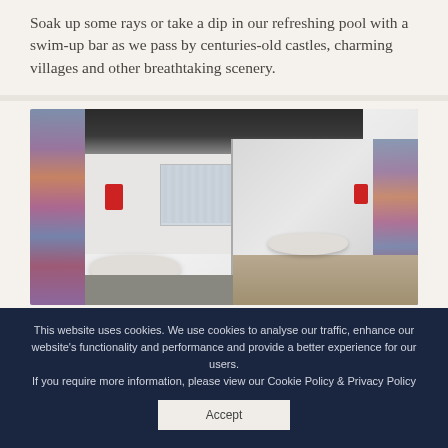Soak up some rays or take a dip in our refreshing pool with a swim-up bar as we pass by centuries-old castles, charming villages and other breathtaking scenery.
[Figure (photo): Interior hotel bathroom with white walls, colorful floral mosaic wallpaper on the left, recessed ceiling lighting, a white basin/sink, and a large mirror on the right reflecting the room. A red fire alarm box is visible on the wall.]
This website uses cookies. We use cookies to analyse our traffic, enhance our website's functionality and performance and provide a better experience for our users. If you require more information, please view our Cookie Policy & Privacy Policy